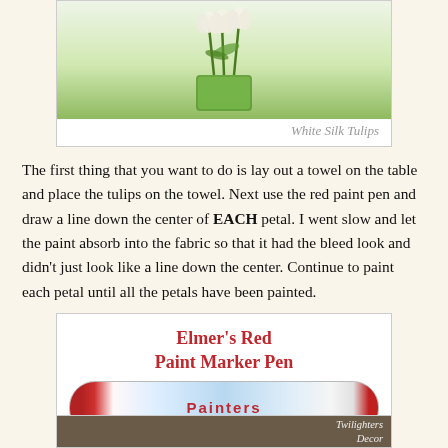[Figure (photo): Photo of white silk tulips in a green square glass vase, with caption 'White Silk Tulips']
White Silk Tulips
The first thing that you want to do is lay out a towel on the table and place the tulips on the towel. Next use the red paint pen and draw a line down the center of EACH petal. I went slow and let the paint absorb into the fabric so that it had the bleed look and didn't just look like a line down the center. Continue to paint each petal until all the petals have been painted.
[Figure (photo): Product image of Elmer's Red Paint Marker Pen showing a Painters brand paint marker pen with red and blue packaging]
Elmer's Red Paint Marker Pen
[Figure (photo): Partial photo at bottom of page with text 'Twilighters Decor']